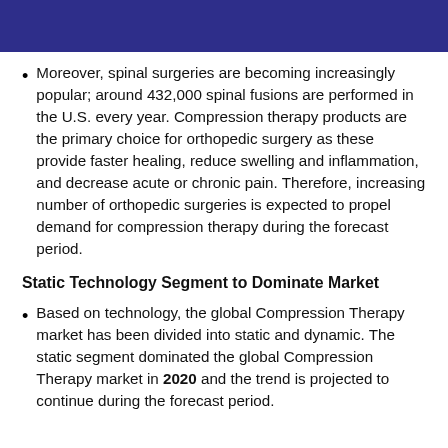Moreover, spinal surgeries are becoming increasingly popular; around 432,000 spinal fusions are performed in the U.S. every year. Compression therapy products are the primary choice for orthopedic surgery as these provide faster healing, reduce swelling and inflammation, and decrease acute or chronic pain. Therefore, increasing number of orthopedic surgeries is expected to propel demand for compression therapy during the forecast period.
Static Technology Segment to Dominate Market
Based on technology, the global Compression Therapy market has been divided into static and dynamic. The static segment dominated the global Compression Therapy market in 2020 and the trend is projected to continue during the forecast period.